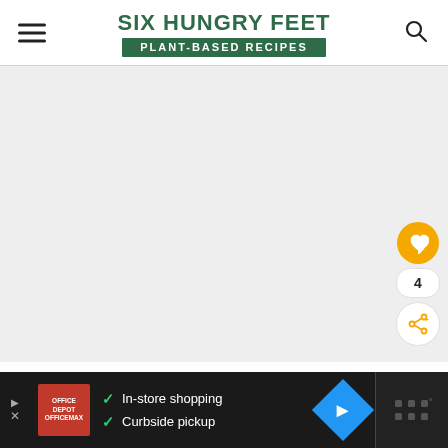SIX HUNGRY FEET — PLANT-BASED RECIPES
[Figure (photo): Large main content image area, appears blank/loading (light gray background)]
[Figure (infographic): Advertisement bar at bottom: red Office Depot logo, checkmarks for In-store shopping and Curbside pickup, blue diamond navigation icon, dark right panel with grid icon]